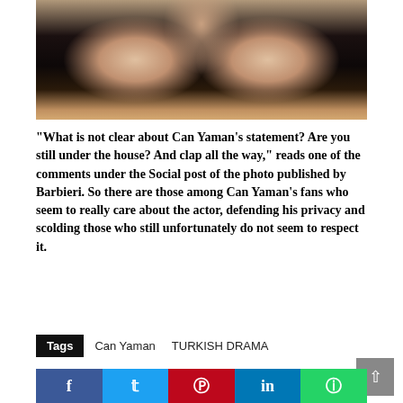[Figure (photo): Torso photo of a muscular man wearing a black sleeveless shirt, arms visible on both sides]
"What is not clear about Can Yaman's statement? Are you still under the house? And clap all the way," reads one of the comments under the Social post of the photo published by Barbieri. So there are those among Can Yaman's fans who seem to really care about the actor, defending his privacy and scolding those who still unfortunately do not seem to respect it.
Tags   Can Yaman   TURKISH DRAMA